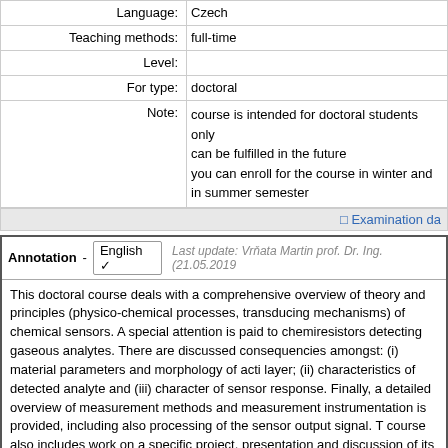| Field | Value |
| --- | --- |
| Language: | Czech |
| Teaching methods: | full-time |
| Level: |  |
| For type: | doctoral |
| Note: | course is intended for doctoral students only
can be fulfilled in the future
you can enroll for the course in winter and in summer semester |
Examination da...
Annotation - English  Last update: Vrňata Martin prof. Dr. Ing. (21.05.2019
This doctoral course deals with a comprehensive overview of theory and principles (physico-chemical processes, transducing mechanisms) of chemical sensors. A special attention is paid to chemiresistors detecting gaseous analytes. There are discussed consequencies amongst: (i) material parameters and morphology of active layer; (ii) characteristics of detected analyte and (iii) character of sensor response. Finally, a detailed overview of measurement methods and measurement instrumentation is provided, including also processing of the sensor output signal. The course also includes work on a specific project, presentation and discussion of its results.